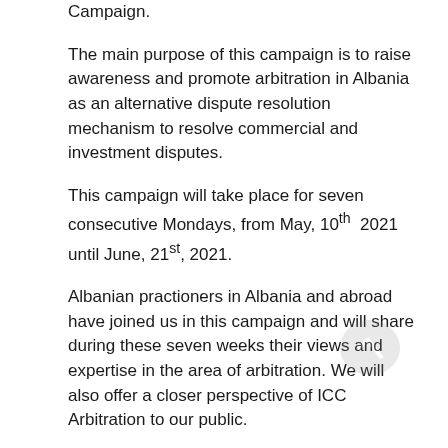Campaign.
The main purpose of this campaign is to raise awareness and promote arbitration in Albania as an alternative dispute resolution mechanism to resolve commercial and investment disputes.
This campaign will take place for seven consecutive Mondays, from May, 10th  2021 until June, 21st, 2021.
Albanian practioners in Albania and abroad have joined us in this campaign and will share during these seven weeks their views and expertise in the area of arbitration. We will also offer a closer perspective of ICC Arbitration to our public.
Session 1/7 is reserved to the topic “Why to arbitrate?”
What is arbitration? Why should parties choose to go to arbitration, rather than to a national court to